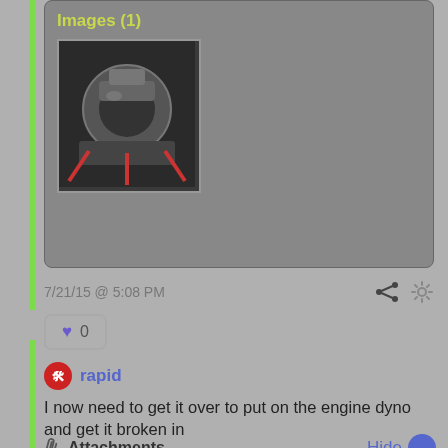[Figure (photo): Attachment section showing Images (1) with a thumbnail of an engine on a stand]
7/21/15  @  5:08 PM
♥ 0
rapid
I now need to get it over to put on the engine dyno and get it broken in
Attachments   Hide
[Figure (photo): Second attachment section showing Images (1) with a thumbnail]